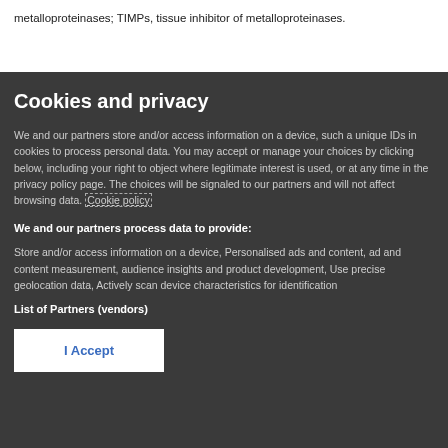metalloproteinases; TIMPs, tissue inhibitor of metalloproteinases.
Cookies and privacy
We and our partners store and/or access information on a device, such a unique IDs in cookies to process personal data. You may accept or manage your choices by clicking below, including your right to object where legitimate interest is used, or at any time in the privacy policy page. These choices will be signaled to our partners and will not affect browsing data. Cookie policy
We and our partners process data to provide:
Store and/or access information on a device, Personalised ads and content, ad and content measurement, audience insights and product development, Use precise geolocation data, Actively scan device characteristics for identification
List of Partners (vendors)
I Accept